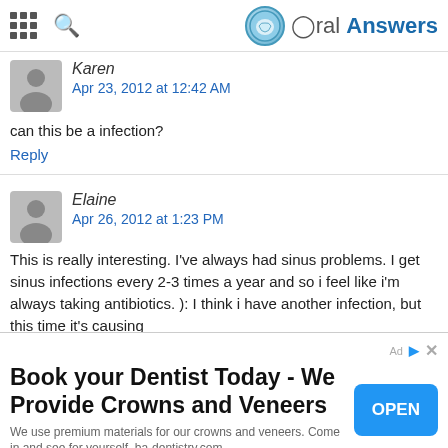Oral Answers
Karen
Apr 23, 2012 at 12:42 AM
can this be a infection?
Reply
Elaine
Apr 26, 2012 at 1:23 PM
This is really interesting. I've always had sinus problems. I get sinus infections every 2-3 times a year and so i feel like i'm always taking antibiotics. ): I think i have another infection, but this time it's causing pain with my teeth. The pain comes and goes but when it
[Figure (other): Advertisement banner: Book your Dentist Today - We Provide Crowns and Veneers. We use premium materials for our crowns and veneers. Come in and see for yourself. ba-dentistry.com. OPEN button.]